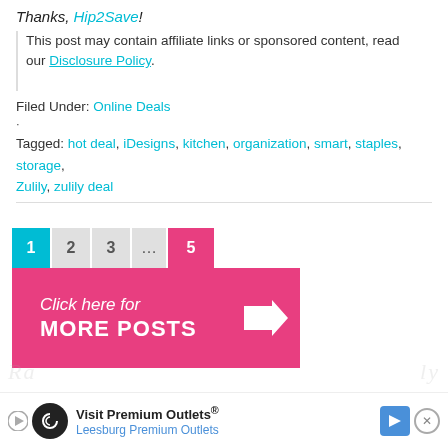Thanks, Hip2Save!
This post may contain affiliate links or sponsored content, read our Disclosure Policy.
Filed Under: Online Deals
Tagged: hot deal, iDesigns, kitchen, organization, smart, staples, storage, Zulily, zulily deal
[Figure (infographic): Pagination bar with pages 1, 2, 3, ..., 5 and a pink 'Click here for MORE POSTS' banner with arrow]
[Figure (infographic): Advertisement banner for Visit Premium Outlets - Leesburg Premium Outlets]